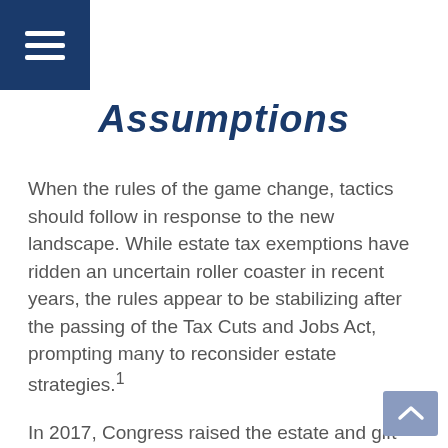≡
Assumptions
When the rules of the game change, tactics should follow in response to the new landscape. While estate tax exemptions have ridden an uncertain roller coaster in recent years, the rules appear to be stabilizing after the passing of the Tax Cuts and Jobs Act, prompting many to reconsider estate strategies.¹
In 2017, Congress raised the estate and gift tax exemption to $11.2 million, doubling the $5.6 million that previously existed. In 2021, the estate and gift tax exemption is $11.7 million.²
This exemption increase means that potentially hundreds of additional American households may be able to pass on their assets free of estate taxes. It also means that